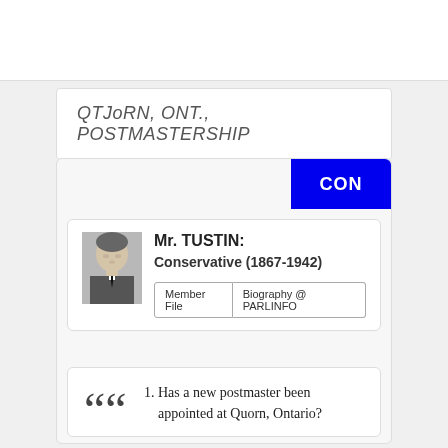QTJoRN, ONT., POSTMASTERSHIP
Mr. TUSTIN:
Conservative (1867-1942)
Member File | Biography @ PARLINFO
1. Has a new postmaster been appointed at Quorn, Ontario?
2. If so, what is his name?
[Figure (photo): Black and white portrait photograph of Mr. Tustin]